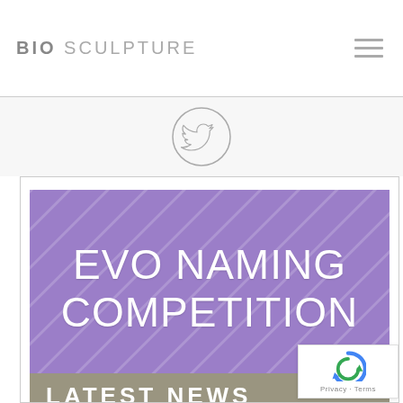BIO SCULPTURE
[Figure (illustration): Twitter bird icon inside a circle, centered in a light gray band below the header]
[Figure (illustration): Purple textured banner with white text reading 'EVO NAMING COMPETITION', and below it a gray-green bar with white text 'LATEST NEWS'. A reCAPTCHA badge overlay appears bottom-right with Privacy and Terms links.]